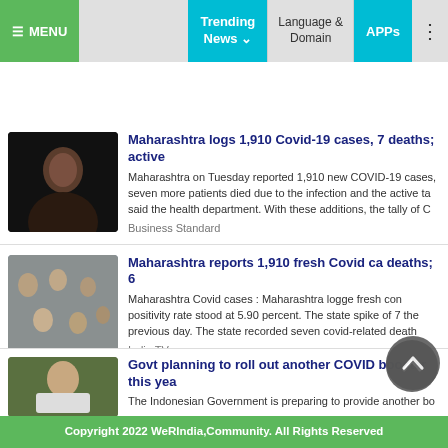☰ MENU | Trending News | Language & Domain | APPs
[Figure (screenshot): Thumbnail of person with dark background]
Maharashtra logs 1,910 Covid-19 cases, 7 deaths; active
Maharashtra on Tuesday reported 1,910 new COVID-19 cases, seven more patients died due to the infection and the active ta said the health department. With these additions, the tally of C
Business Standard
[Figure (screenshot): Thumbnail of crowd scene]
Maharashtra reports 1,910 fresh Covid ca deaths; 6
Maharashtra Covid cases : Maharashtra logge fresh con positivity rate stood at 5.90 percent. The state spike of 7 the previous day. The state recorded seven covid-related death
India TV
[Figure (screenshot): Thumbnail of person wearing mask]
Govt planning to roll out another COVID booster this yea
The Indonesian Government is preparing to provide another bo 2022 to bolster community immunity and as part of anticipator emergence of new coronavirus ...
Antara News
Copyright 2022 WeRIndia,Community. All Rights Reserved